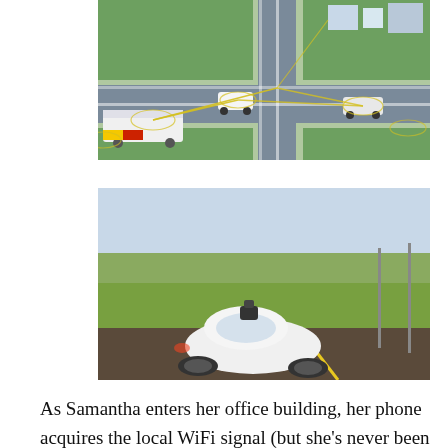[Figure (illustration): Aerial/isometric illustration of a smart intersection with connected vehicles. Shows roads, vehicles including a bus and cars, with yellow signal/communication lines indicating vehicle-to-vehicle and vehicle-to-infrastructure connectivity. Green areas, buildings visible.]
[Figure (photo): Photo of a Google self-driving car (small white autonomous vehicle with a sensor pod on top) driving on a road with green grass fields and blue sky in the background.]
As Samantha enters her office building, her phone acquires the local WiFi signal (but she's never been out of range. SE now has blanket coverage in the